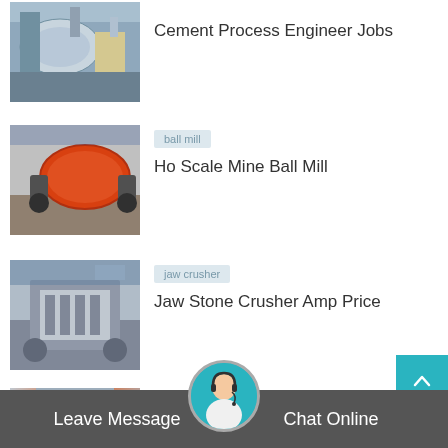[Figure (photo): Industrial cement/mining equipment - large cylinders and machinery in factory]
Cement Process Engineer Jobs
[Figure (photo): Red/orange ball mill industrial machinery]
ball mill
Ho Scale Mine Ball Mill
[Figure (photo): Jaw crusher industrial machine in factory floor]
jaw crusher
Jaw Stone Crusher Amp Price
[Figure (photo): Ball mill circuit machinery outdoors]
ball mill
Ball Mill Circuit Flowsheet
[Figure (photo): Partially visible industrial machinery at bottom]
crusher
Leave Message    Chat Online